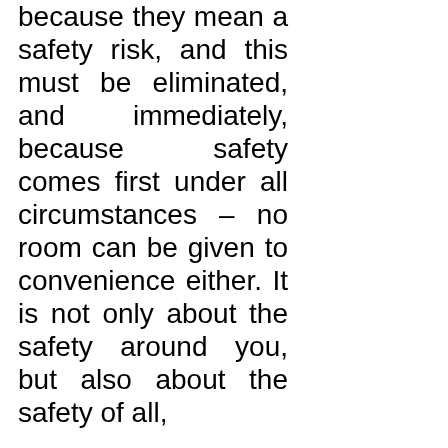because they mean a safety risk, and this must be eliminated, and immediately, because safety comes first under all circumstances – no room can be given to convenience either. It is not only about the safety around you, but also about the safety of all,